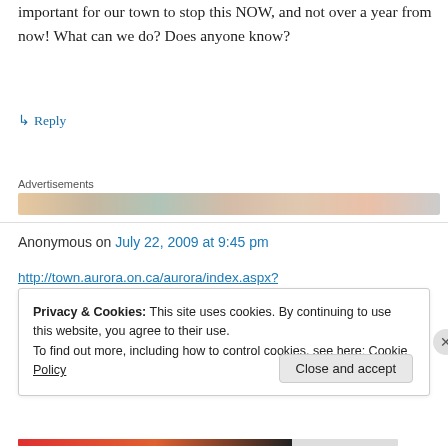important for our town to stop this NOW, and not over a year from now! What can we do? Does anyone know?
↳ Reply
Advertisements
Anonymous on July 22, 2009 at 9:45 pm
http://town.aurora.on.ca/aurora/index.aspx?
Privacy & Cookies: This site uses cookies. By continuing to use this website, you agree to their use.
To find out more, including how to control cookies, see here: Cookie Policy
Close and accept